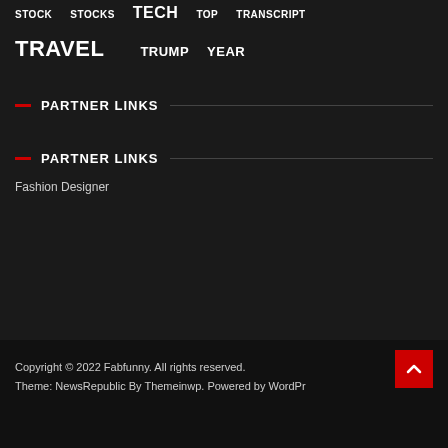STOCK  STOCKS  TECH  TOP  TRANSCRIPT
TRAVEL  TRUMP  YEAR
PARTNER LINKS
PARTNER LINKS
Fashion Designer
Copyright © 2022 Fabfunny. All rights reserved.
Theme: NewsRepublic By Themeinwp. Powered by WordPr…